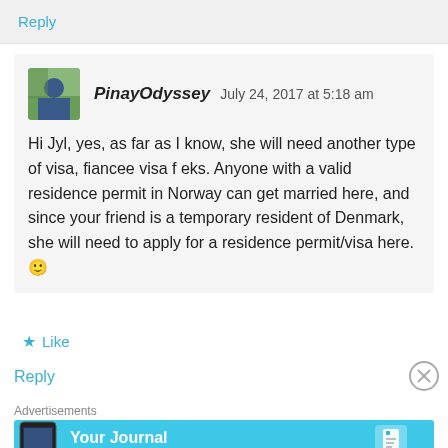Reply
PinayOdyssey   July 24, 2017 at 5:18 am
Hi Jyl, yes, as far as I know, she will need another type of visa, fiancee visa f eks. Anyone with a valid residence permit in Norway can get married here, and since your friend is a temporary resident of Denmark, she will need to apply for a residence permit/visa here. 🙂
Like
Reply
Advertisements
[Figure (screenshot): Day One app advertisement banner with text 'Your Journal for life' on a light blue background with a phone mockup and Day One logo]